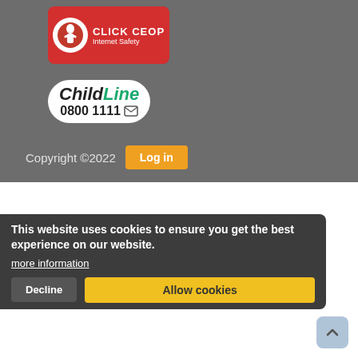[Figure (logo): CLICK CEOP Internet Safety button — red rounded rectangle with white eye icon and white text]
[Figure (logo): ChildLine logo with speech bubble shape, bold text 'ChildLine' and phone number '0800 1111' with envelope icon]
Copyright ©2022
[Figure (other): Log in button (orange)]
[Figure (logo): United Learning Hub logo — dark blue square with white text 'United Hub']
The school is part of United Learning. United Learning comprises: UCST (Registered in England No: 2780748. Charity No. 1016538) and ULT (Registered in England No: 4439859. An Exempt Charity). Companies limited by guarantee. Registered in England. VAT number 843 8515 12.
This website uses cookies to ensure you get the best experience on our website.
more information
Registered address: United Learning, Worldwide House, Thorpe Wood, Peterborough, PE3 6SB. Tel: 01832 864 444
Financial Accountability and Freedom of Information
Website Terms, Cookies and Privacy